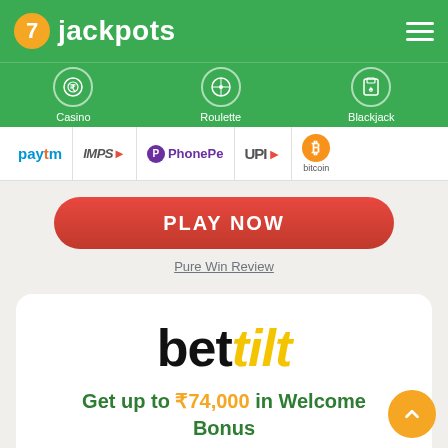7 jackpots
[Figure (infographic): Navigation bar with Casino (chip icon), Roulette (roulette wheel icon), Blackjack (playing card icon) on green background]
[Figure (infographic): Payment logos strip: Paytm, IMPS, PhonePe, UPI, Bitcoin]
PLAY NOW
Pure Win Review
[Figure (logo): bettilt logo — 'bet' in black, 'tilt' in yellow italic]
Get up to ₹74,000 in Welcome Bonus